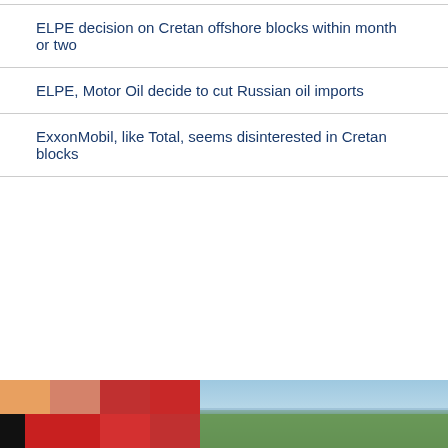ELPE decision on Cretan offshore blocks within month or two
ELPE, Motor Oil decide to cut Russian oil imports
ExxonMobil, like Total, seems disinterested in Cretan blocks
[Figure (photo): Bottom banner with colored square blocks (orange, salmon, dark red, black, red on left) and a landscape/aerial photo showing sky and green terrain on right]